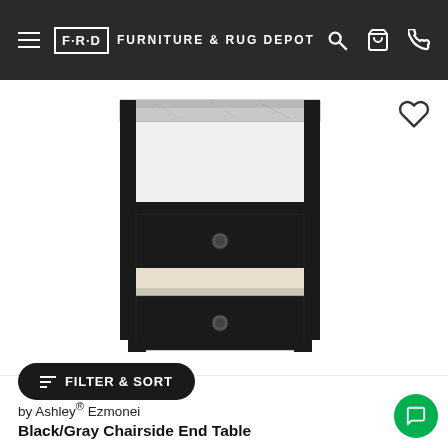F·R·D FURNITURE & RUG DEPOT
[Figure (photo): Black and gray chairside end table with marble top, open shelf, and two drawers (bottom drawer open showing interior), photographed on white background]
by Ashley® Ezmonei Black/Gray Chairside End Table